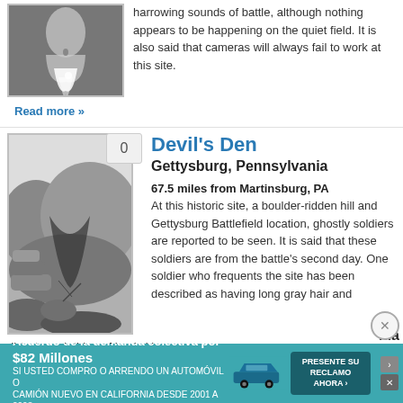[Figure (photo): Black and white or grayscale ghost/apparition photo — partial image at top]
harrowing sounds of battle, although nothing appears to be happening on the quiet field. It is also said that cameras will always fail to work at this site.
Read more »
[Figure (photo): Black and white photo of Devil's Den at Gettysburg — rocky boulders and crevice]
Devil's Den
Gettysburg, Pennsylvania
67.5 miles from Martinsburg, PA
At this historic site, a boulder-ridden hill and Gettysburg Battlefield location, ghostly soldiers are reported to be seen. It is said that these soldiers are from the battle's second day. One soldier who frequents the site has been described as having long gray hair and dirty, torn clothing of buckskin. ...
Read more »
[Figure (other): Partial view of next entry and advertisement banner at bottom — Acuerdo de la demanda colectiva por $82 Millones]